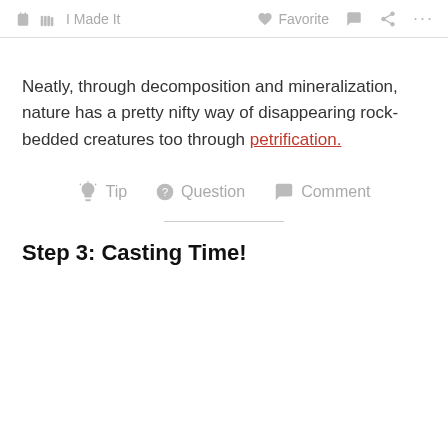✋ I Made It   ♡ Favorite   💬   ⋯
Neatly, through decomposition and mineralization, nature has a pretty nifty way of disappearing rock-bedded creatures too through petrification.
💡 Tip   ? Question   💬 Comment
Step 3: Casting Time!